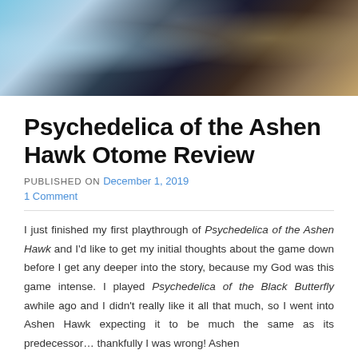[Figure (illustration): Banner/header illustration showing anime-style characters; left side has light blue and white floral motifs with a white-haired character, right side has darker tones with a character wearing a hat with crescent moon decoration]
Psychedelica of the Ashen Hawk Otome Review
PUBLISHED ON December 1, 2019
1 Comment
I just finished my first playthrough of Psychedelica of the Ashen Hawk and I'd like to get my initial thoughts about the game down before I get any deeper into the story, because my God was this game intense. I played Psychedelica of the Black Butterfly awhile ago and I didn't really like it all that much, so I went into Ashen Hawk expecting it to be much the same as its predecessor… thankfully I was wrong! Ashen